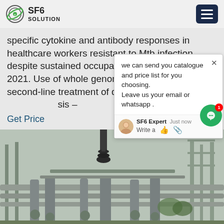SF6 SOLUTION
specific cytokine and antibody responses in healthcare workers resistant to Mtb infection despite sustained occupational exposure - October 2021. Use of whole genome sequencing for second-line treatment of drug-resistant tuberculosis –
Get Price
[Figure (screenshot): Chat popup overlay with message: we can send you catalogue and price list for you choosing. Leave us your email or whatsapp . SF6 Expert just now. Write a [thumbs up] [paperclip]]
[Figure (photo): Black and white photograph of electrical substation with metal pipes, insulators, and steel frame structures]